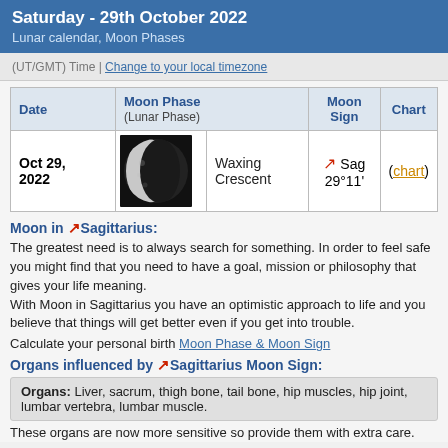Saturday - 29th October 2022
Lunar calendar, Moon Phases
(UT/GMT) Time | Change to your local timezone
| Date | Moon Phase (Lunar Phase) |  | Moon Sign | Chart |
| --- | --- | --- | --- | --- |
| Oct 29, 2022 | [moon image] | Waxing Crescent | ♐ Sag 29°11' | (chart) |
Moon in ♐ Sagittarius:
The greatest need is to always search for something. In order to feel safe you might find that you need to have a goal, mission or philosophy that gives your life meaning.
With Moon in Sagittarius you have an optimistic approach to life and you believe that things will get better even if you get into trouble.
Calculate your personal birth Moon Phase & Moon Sign
Organs influenced by ♐ Sagittarius Moon Sign:
Organs: Liver, sacrum, thigh bone, tail bone, hip muscles, hip joint, lumbar vertebra, lumbar muscle.
These organs are now more sensitive so provide them with extra care.